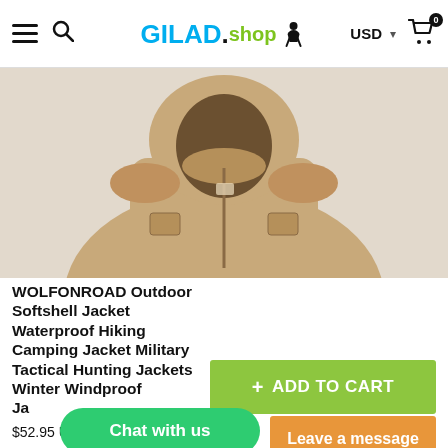GILAD.shop — USD — Cart (0)
[Figure (photo): Tan/beige military softshell jacket with hood, displayed on a hanger against a light background]
WOLFONROAD Outdoor Softshell Jacket Waterproof Hiking Camping Jacket Military Tactical Hunting Jackets Winter Windproof Jackets
+ ADD TO CART
Chat with us
Leave a message
$52.95 USD $65.2...